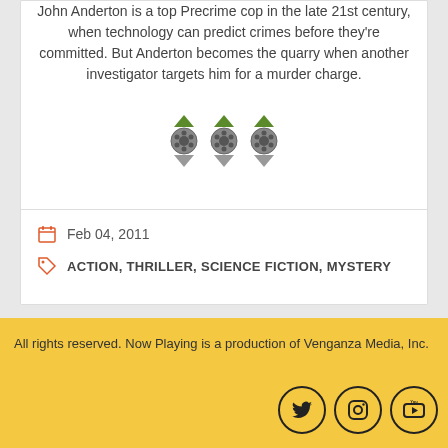John Anderton is a top Precrime cop in the late 21st century, when technology can predict crimes before they're committed. But Anderton becomes the quarry when another investigator targets him for a murder charge.
[Figure (illustration): Three film reel icons with green upward arrows on top and gray downward arrows below, representing a rating of 3 out of some scale.]
Feb 04, 2011
ACTION, THRILLER, SCIENCE FICTION, MYSTERY
All rights reserved. Now Playing is a production of Venganza Media, Inc.